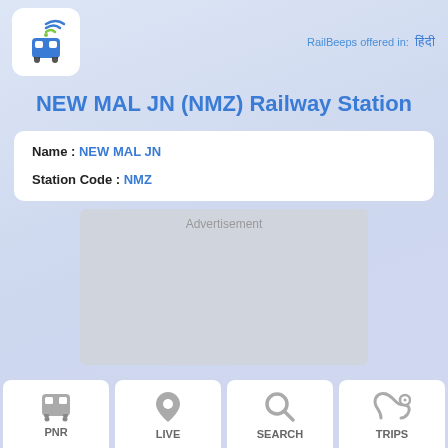[Figure (logo): RailBeeps logo: train icon with wifi symbol above, text RAIL BEEPS]
RailBeeps offered in: हिंदी
NEW MAL JN (NMZ) Railway Station
Name : NEW MAL JN
Station Code : NMZ
[Figure (other): Advertisement placeholder box]
PNR
LIVE
SEARCH
TRIPS